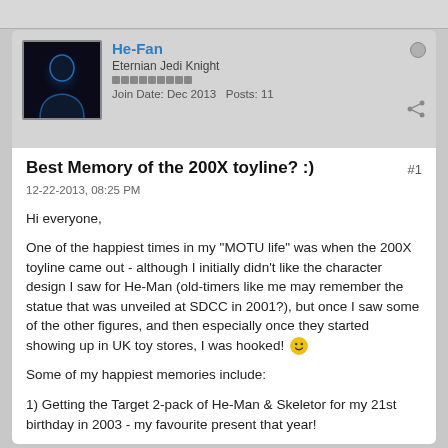[Figure (photo): User avatar: silhouette of a person with blue glowing outline on dark background]
He-Fan
Eternian Jedi Knight
Join Date: Dec 2013  Posts: 11
Best Memory of the 200X toyline? :)
12-22-2013, 08:25 PM
Hi everyone,
One of the happiest times in my "MOTU life" was when the 200X toyline came out - although I initially didn't like the character design I saw for He-Man (old-timers like me may remember the statue that was unveiled at SDCC in 2001?), but once I saw some of the other figures, and then especially once they started showing up in UK toy stores, I was hooked! 🙂
Some of my happiest memories include:
1) Getting the Target 2-pack of He-Man & Skeletor for my 21st birthday in 2003 - my favourite present that year!
2) Buying Mer-Man from a UK toy store, the first MOTU figure I'd purchased "off the peg" since 1990! Better even than that, I remember